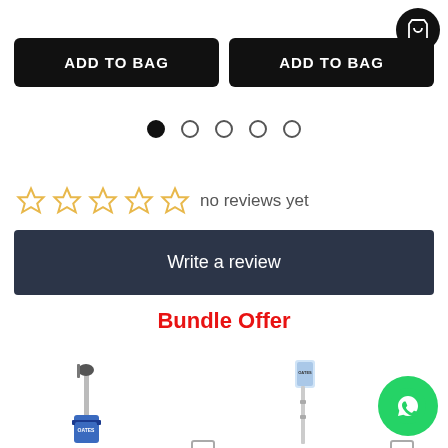[Figure (screenshot): Shopping cart icon in black circle, top right corner]
ADD TO BAG
ADD TO BAG
[Figure (other): Carousel dot indicators: 5 dots, first one filled/active]
[Figure (other): 5 empty gold star rating icons followed by text 'no reviews yet']
no reviews yet
Write a review
Bundle Offer
[Figure (photo): Product image of a floor cleaning mop/scrubber with blue accents]
[Figure (photo): Product image of a telescopic mop/duster with packaging]
[Figure (other): WhatsApp chat button (green circle with WhatsApp logo)]